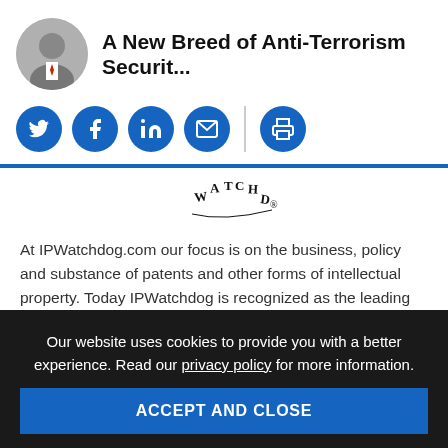A New Breed of Anti-Terrorism Securit...
[Figure (illustration): Social media share buttons: Twitter, Facebook, LinkedIn, Email (blue circles), vertical divider, Print button (blue circle)]
[Figure (logo): IPWatchdog logo text arranged in circular/arc format reading WATCHDOG with registered trademark symbol]
At IPWatchdog.com our focus is on the business, policy and substance of patents and other forms of intellectual property. Today IPWatchdog is recognized as the leading sources for news and information in the patent and innovation industries.
© 1999 – 2022 IPWatchdog, Inc.
Our website uses cookies to provide you with a better experience. Read our privacy policy for more information.
ACCEPT AND CLOSE
Images on IPWatchdog
Primarily Provided by